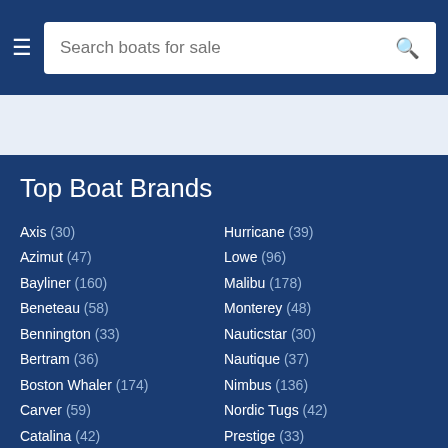Search boats for sale
Top Boat Brands
Axis (30)
Azimut (47)
Bayliner (160)
Beneteau (58)
Bennington (33)
Bertram (36)
Boston Whaler (174)
Carver (59)
Catalina (42)
Chaparral (101)
Chris-Craft (102)
Hurricane (39)
Lowe (96)
Malibu (178)
Monterey (48)
Nauticstar (30)
Nautique (37)
Nimbus (136)
Nordic Tugs (42)
Prestige (33)
Pro-Line (43)
Pursuit (38)